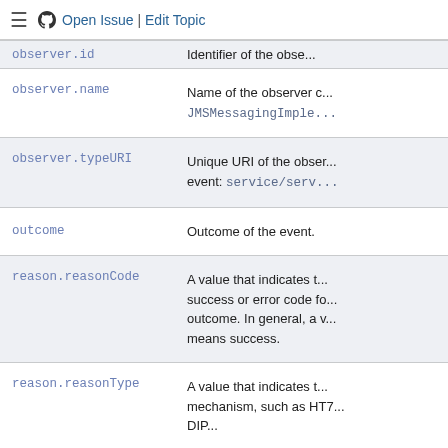Open Issue | Edit Topic
| Field | Description |
| --- | --- |
| observer.name | Name of the observer class. JMSMessagingImple... |
| observer.typeURI | Unique URI of the observer event: service/serv... |
| outcome | Outcome of the event. |
| reason.reasonCode | A value that indicates the success or error code for the outcome. In general, a value of means success. |
| reason.reasonType | A value that indicates the mechanism, such as HTT... |